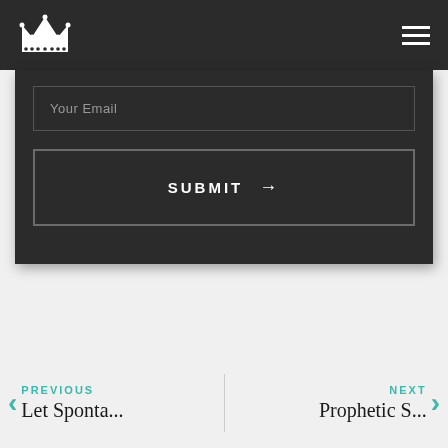[Figure (logo): White crown logo on dark navbar background]
Your Email
SUBMIT →
PREVIOUS
Let Sponta...
NEXT
Prophetic S...